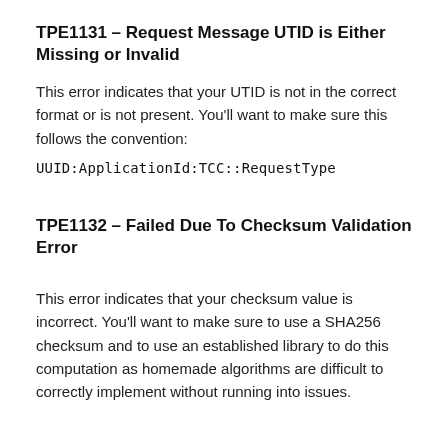TPE1131 – Request Message UTID is Either Missing or Invalid
This error indicates that your UTID is not in the correct format or is not present. You'll want to make sure this follows the convention:
UUID:ApplicationId:TCC::RequestType
TPE1132 – Failed Due To Checksum Validation Error
This error indicates that your checksum value is incorrect. You'll want to make sure to use a SHA256 checksum and to use an established library to do this computation as homemade algorithms are difficult to correctly implement without running into issues.